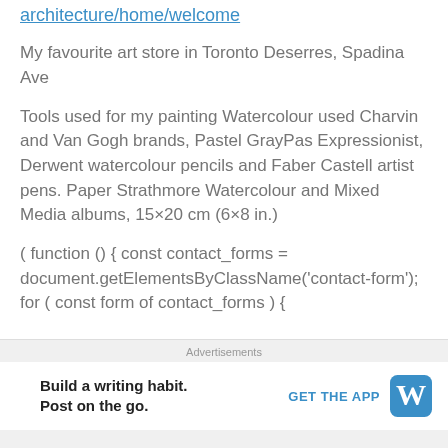architecture/home/welcome
My favourite art store in Toronto Deserres, Spadina Ave
Tools used for my painting Watercolour used Charvin and Van Gogh brands, Pastel GrayPas Expressionist, Derwent watercolour pencils and Faber Castell artist pens. Paper Strathmore Watercolour and Mixed Media albums, 15×20 cm (6×8 in.)
( function () { const contact_forms = document.getElementsByClassName('contact-form'); for ( const form of contact_forms ) {
Advertisements
Build a writing habit. Post on the go.
GET THE APP